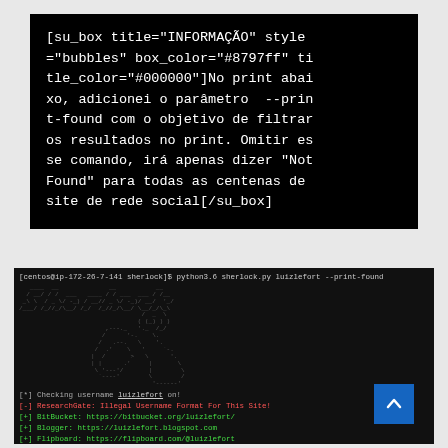[su_box title="INFORMAÇÃO" style="bubbles" box_color="#8797ff" title_color="#000000"]No print abaixo, adicionei o parâmetro  --print-found com o objetivo de filtrar os resultados no print. Omitir esse comando, irá apenas dizer "Not Found" para todas as centenas de site de rede social[/su_box]
[Figure (screenshot): Terminal screenshot showing sherlock tool running: python3.6 sherlock.py luizlefort --print-found. Displays Sherlock ASCII art logo, then results: [*] Checking username luizlefort on!, [-] ResearchGate: Illegal Username Format For This Site!, [+] BitBucket: https://bitbucket.org/luizlefort/, [+] Blogger: https://luizlefort.blogspot.com, [+] Flipboard: https://flipboard.com/@luizlefort, [+] Houzz: https://houzz.com/user/luizlefort, [+] ImageShack: https://imageshack.us/user/luizlefort]